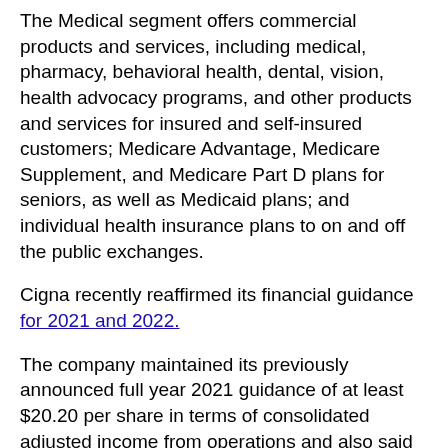The Medical segment offers commercial products and services, including medical, pharmacy, behavioral health, dental, vision, health advocacy programs, and other products and services for insured and self-insured customers; Medicare Advantage, Medicare Supplement, and Medicare Part D plans for seniors, as well as Medicaid plans; and individual health insurance plans to on and off the public exchanges.
Cigna recently reaffirmed its financial guidance for 2021 and 2022.
The company maintained its previously announced full year 2021 guidance of at least $20.20 per share in terms of consolidated adjusted income from operations and also said it expects its consolidated adjusted income from operations for full-year 2022 to grow by at least ~20% YoY on a per-share basis.
Cigna has a consensus Wall Street revenue estimate of